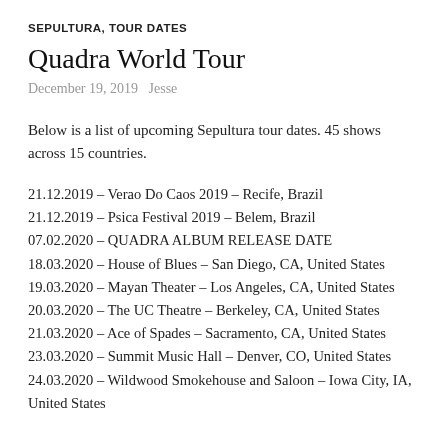SEPULTURA, TOUR DATES
Quadra World Tour
December 19, 2019   Jesse
Below is a list of upcoming Sepultura tour dates. 45 shows across 15 countries.
21.12.2019 – Verao Do Caos 2019 – Recife, Brazil
21.12.2019 – Psica Festival 2019 – Belem, Brazil
07.02.2020 – QUADRA ALBUM RELEASE DATE
18.03.2020 – House of Blues – San Diego, CA, United States
19.03.2020 – Mayan Theater – Los Angeles, CA, United States
20.03.2020 – The UC Theatre – Berkeley, CA, United States
21.03.2020 – Ace of Spades – Sacramento, CA, United States
23.03.2020 – Summit Music Hall – Denver, CO, United States
24.03.2020 – Wildwood Smokehouse and Saloon – Iowa City, IA, United States